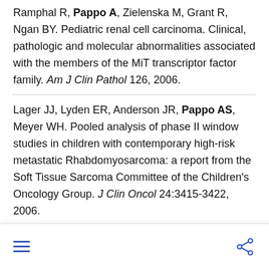Ramphal R, Pappo A, Zielenska M, Grant R, Ngan BY. Pediatric renal cell carcinoma. Clinical, pathologic and molecular abnormalities associated with the members of the MiT transcriptor factor family. Am J Clin Pathol 126, 2006.
Lager JJ, Lyden ER, Anderson JR, Pappo AS, Meyer WH. Pooled analysis of phase II window studies in children with contemporary high-risk metastatic Rhabdomyosarcoma: a report from the Soft Tissue Sarcoma Committee of the Children's Oncology Group. J Clin Oncol 24:3415-3422, 2006.
d F, Santana VM, Billups CA, Merchant TE, Fur Spunt SL, Cain AM, Rao BN, Hale GA, Pappo A. Concomitant administration of vincristine,